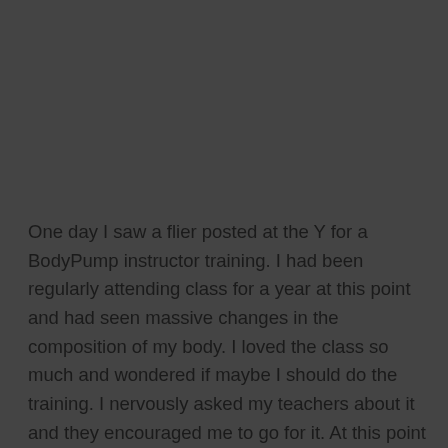One day I saw a flier posted at the Y for a BodyPump instructor training. I had been regularly attending class for a year at this point and had seen massive changes in the composition of my body. I loved the class so much and wondered if maybe I should do the training. I nervously asked my teachers about it and they encouraged me to go for it. At this point I had NEVER dreamed I would ever teach group fitness.